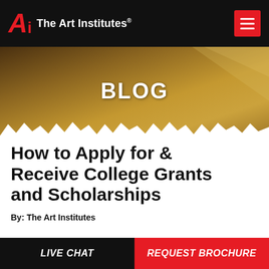The Art Institutes
[Figure (screenshot): Hero banner image with warm golden-brown background and bold white BLOG text label]
How to Apply for & Receive College Grants and Scholarships
By: The Art Institutes
LIVE CHAT | REQUEST BROCHURE